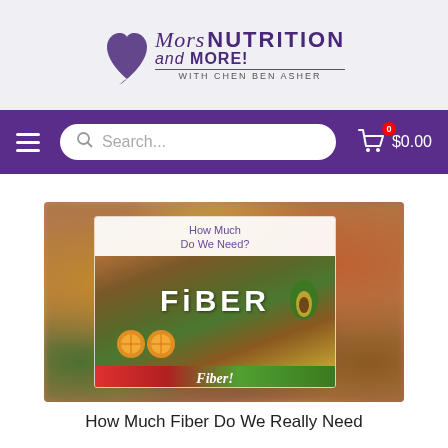[Figure (logo): More Nutrition and More! with Chen Ben Asher logo with heart shape]
[Figure (screenshot): Purple navigation bar with hamburger menu, search box, and cart showing $0.00]
[Figure (photo): Fiber-themed food image showing colorful vegetables, fruits, and the word FIBER. Card overlay reads 'How Much Do We Need?' with Fiber text at bottom.]
How Much Fiber Do We Really Need